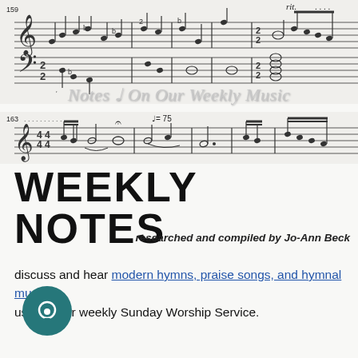[Figure (illustration): Sheet music notation — top section showing measures 159 onward with treble and bass clef staves, notes, and 'rit.' marking]
Notes ♩ On Our Weekly Music
[Figure (illustration): Sheet music notation — bottom section showing measures 163 onward with treble clef, tempo marking ♩=75]
WEEKLY NOTES
researched and compiled by Jo-Ann Beck
discuss and hear modern hymns, praise songs, and hymnal music, used in our weekly Sunday Worship Service.